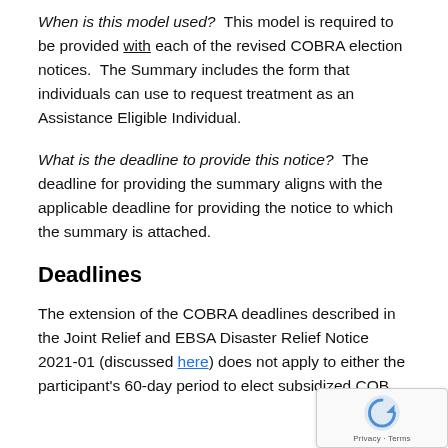When is this model used?  This model is required to be provided with each of the revised COBRA election notices.  The Summary includes the form that individuals can use to request treatment as an Assistance Eligible Individual.
What is the deadline to provide this notice?  The deadline for providing the summary aligns with the applicable deadline for providing the notice to which the summary is attached.
Deadlines
The extension of the COBRA deadlines described in the Joint Relief and EBSA Disaster Relief Notice 2021-01 (discussed here) does not apply to either the participant's 60-day period to elect subsidized COB...